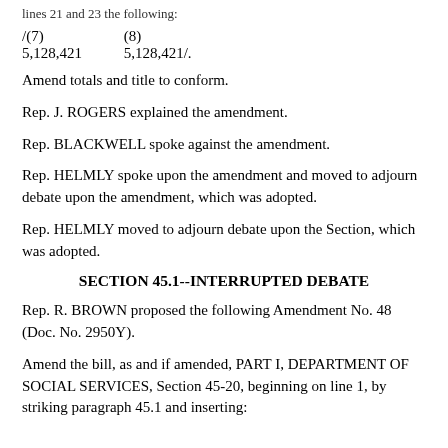lines 21 and 23 the following:
| /(7) | (8) |
| --- | --- |
| 5,128,421 | 5,128,421/ |
Amend totals and title to conform.
Rep. J. ROGERS explained the amendment.
Rep. BLACKWELL spoke against the amendment.
Rep. HELMLY spoke upon the amendment and moved to adjourn debate upon the amendment, which was adopted.
Rep. HELMLY moved to adjourn debate upon the Section, which was adopted.
SECTION 45.1--INTERRUPTED DEBATE
Rep. R. BROWN proposed the following Amendment No. 48 (Doc. No. 2950Y).
Amend the bill, as and if amended, PART I, DEPARTMENT OF SOCIAL SERVICES, Section 45-20, beginning on line 1, by striking paragraph 45.1 and inserting: